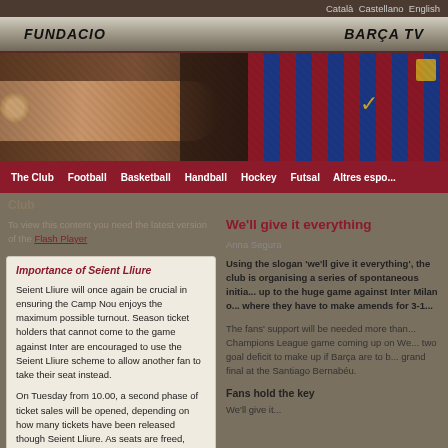Català  Castellano  English
FUNDACIO   BARÇA TV
[Figure (photo): FC Barcelona player in blue and red striped jersey, outstretched arm, hero banner image]
The Club  Football  Basketball  Handball  Hockey  Futsal  Altres esports
Club
To view this content you need the latest version of the Flash Player
Importance of Seient Lliure
Seient Lliure will once again be crucial in ensuring the Camp Nou enjoys the maximum possible turnout. Season ticket holders that cannot come to the game against Inter are encouraged to use the Seient Lliure scheme to allow another fan to take their seat instead.
On Tuesday from 10.00, a second phase of ticket sales will be opened, depending on how many tickets have been released though Seient Lliure. As seats are freed, more and more places will be available. The last...
We'll give it everything
Anna Segura
Using the slogan 'we'll give it everything', the club is organising a series of spontaneous initiatives to build up to the huge game against Inter Milan on Wednesday, where they have to make amends for 3-1...
The fans' support will be needed more than ever for the Champions League game coming up on Wednesday, with a two goal deficit to make up if Barça are to be at the grand final at the Santiago Bernabéu.
Fans hold the key
We'll give it...